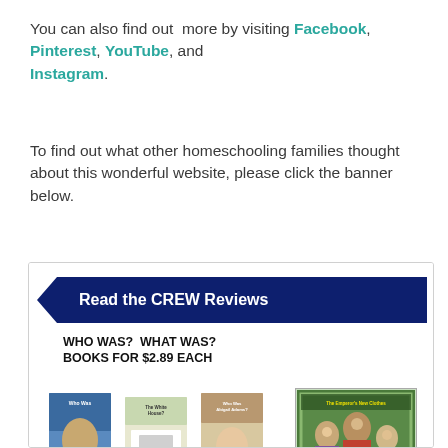You can also find out more by visiting Facebook, Pinterest, YouTube, and Instagram.
To find out what other homeschooling families thought about this wonderful website, please click the banner below.
[Figure (illustration): A promotional banner with dark navy background reading 'Read the CREW Reviews' with an arrow shape on the left side, below which shows book covers for 'Who Was? What Was? Books for $2.89 Each' with a '$2.89 Per Book' yellow price tag, and a colorful illustrated book cover on the right side.]